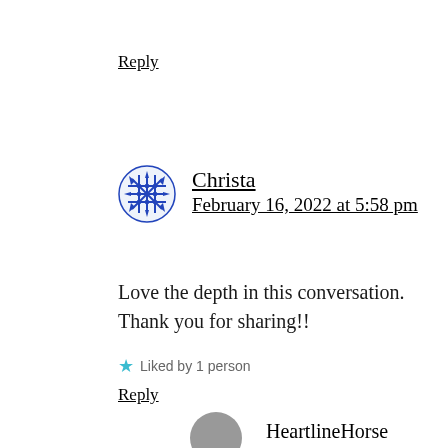Reply
Christa
February 16, 2022 at 5:58 pm
Love the depth in this conversation. Thank you for sharing!!
Liked by 1 person
Reply
HeartlineHorse